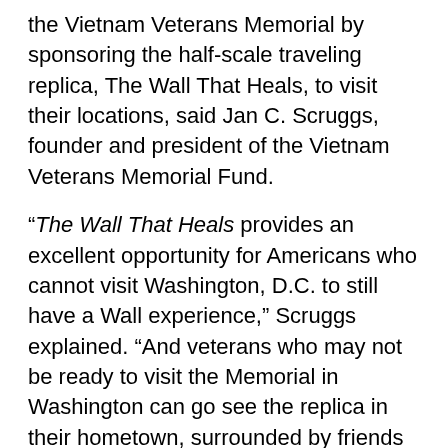the Vietnam Veterans Memorial by sponsoring the half-scale traveling replica, The Wall That Heals, to visit their locations, said Jan C. Scruggs, founder and president of the Vietnam Veterans Memorial Fund.
“The Wall That Heals provides an excellent opportunity for Americans who cannot visit Washington, D.C. to still have a Wall experience,” Scruggs explained. “And veterans who may not be ready to visit the Memorial in Washington can go see the replica in their hometown, surrounded by friends and family.”
Inaugurated in 1996, The Wall That Heals has visited over 250 locations throughout the United States, spreading the Memorial’s healing legacy to millions. It left the country for the first time in 1999, when it traveled to Ireland to honor the Irish-born casualties of the Vietnam War. The Wall That Heals has also traveled to Canada.
When The Wall That Heals visits a community, it is